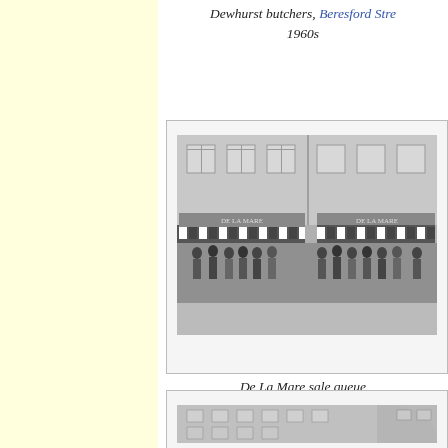Dewhurst butchers, Beresford Street, 1960s
[Figure (photo): Black and white photograph of De La Mare shop front with a long queue of people standing outside on the pavement]
De La Mare sale queue
[Figure (photo): Black and white photograph of a multi-storey building with curved corner facade and rows of windows]